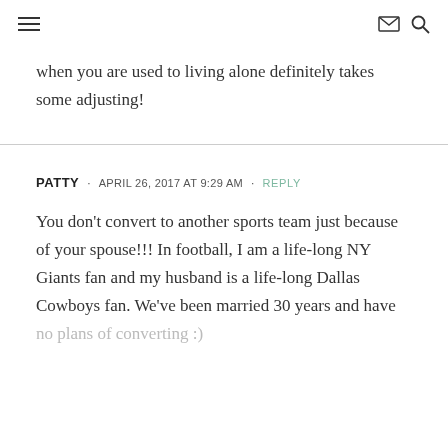≡  ✉ 🔍
when you are used to living alone definitely takes some adjusting!
PATTY · APRIL 26, 2017 AT 9:29 AM · REPLY
You don't convert to another sports team just because of your spouse!!! In football, I am a life-long NY Giants fan and my husband is a life-long Dallas Cowboys fan. We've been married 30 years and have no plans of converting :)